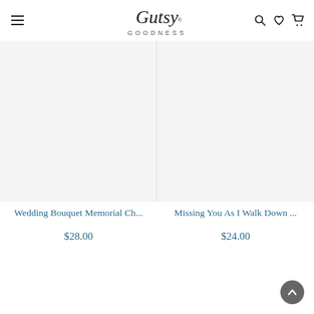Gutsy Goodness
[Figure (screenshot): Product image placeholder for Wedding Bouquet Memorial Ch...]
Wedding Bouquet Memorial Ch...
$28.00
[Figure (screenshot): Product image placeholder for Missing You As I Walk Down ...]
Missing You As I Walk Down ...
$24.00